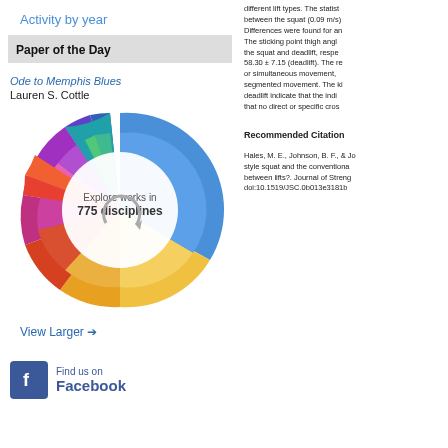Activity by year
Paper of the Day
Ode to Memphis Blues
Lauren S. Cottle
[Figure (donut-chart): Colorful donut/radial chart with multiple colored segments representing 775 disciplines. Center text reads 'Explore works in 775 disciplines'.]
View Larger →
[Figure (logo): Facebook logo icon with 'Find us on Facebook' text]
different lift types. The statist between the squat (0.09 m/s) Differences were found for an The sticking point thigh angl the squat and deadlift, respe 58.30 ± 7.15 (deadlift). The re or simultaneous movement, segmented movement. The ki deadlift indicate that the indi that no direct or specific cros
Recommended Citation
Hales, M. E., Johnson, B. F., & Jo style squat and the conventiona between lifts?. Journal of Streng doi:10.1519/JSC.0b013e3181b